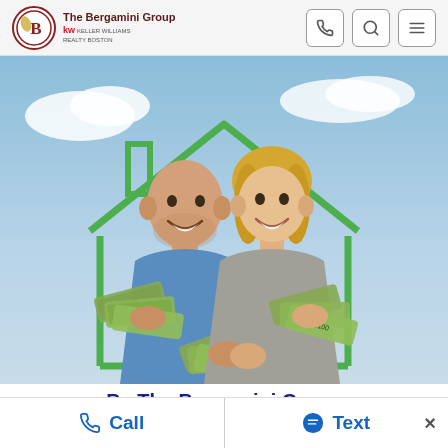The Bergamini Group kw
[Figure (photo): A smiling couple standing inside a green house outline illustration, each holding fans of US dollar bills, with a blue sky background. The man is wearing a blue t-shirt and the woman is wearing a grey top.]
By The Bergamini Group
June 4, 2020
Call   Text